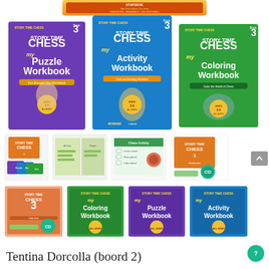[Figure (photo): Orange promotional storybook banner strip at the top]
[Figure (photo): Three Story Time Chess Book 3 workbook covers: purple My Puzzle Workbook, blue My Activity Workbook, and green My Coloring Workbook]
[Figure (photo): Row of product thumbnail images including book covers and interior spreads]
[Figure (photo): Row of individual workbook cover thumbnails: Story Time Chess 3, My Coloring Workbook, My Puzzle Workbook, My Activity Workbook]
Tentina Dorcolla (board 2)